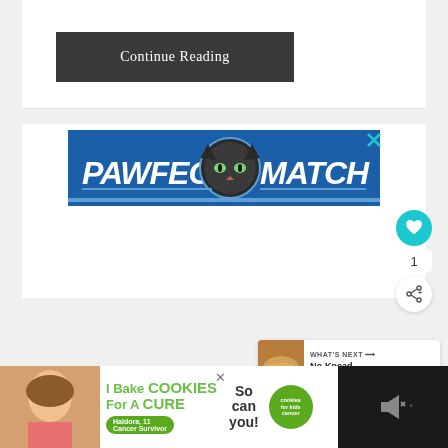[Figure (screenshot): Continue Reading button — dark grey/charcoal rectangular button with white serif text reading 'Continue Reading']
[Figure (advertisement): PAWFECT MATCH banner advertisement — blue background with white bold italic text 'PAWFECT MATCH' and a cat graphic in the center. Cyan X close button in top right.]
[Figure (infographic): Heart/like icon (teal circle with white heart), number '1', share icon (circle with share symbol), and a 'WHAT'S NEXT' panel showing a bread thumbnail with text 'No-Knead Homemade...']
[Figure (advertisement): Cookie ad banner at bottom: 'I Bake COOKIES For A CURE' with girl photo, 'So can you!' text, green 'cookies for kids cancer' badge, and person identifier 'Haldora, 11 Cancer Survivor'. Black bar with mute icon on right side.]